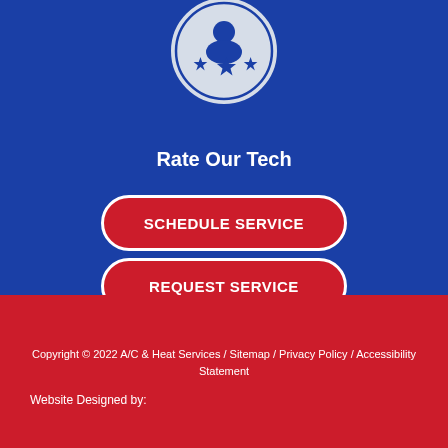[Figure (illustration): Circle icon with a person silhouette and three stars below, on a blue background]
Rate Our Tech
SCHEDULE SERVICE
REQUEST SERVICE
Copyright © 2022 A/C & Heat Services / Sitemap / Privacy Policy / Accessibility Statement
Website Designed by: